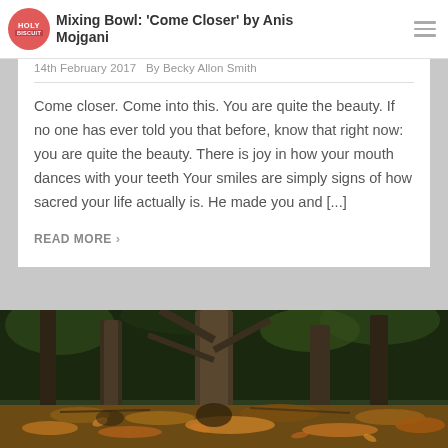Mixing Bowl: 'Come Closer' by Anis Mojgani
14th February 2017   By Becky Allon Smith
Come closer. Come into this. You are quite the beauty. If no one has ever told you that before, know that right now: you are quite the beauty. There is joy in how your mouth dances with your teeth Your smiles are simply signs of how sacred your life actually is. He made you and [...]
READ MORE >
[Figure (photo): A woodland/forest scene with large tree trunks and fallen autumn leaves covering the ground, photographed in natural light.]